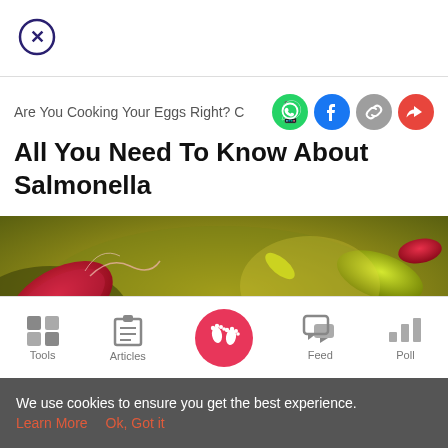[Figure (other): Close button — circle with X inside, dark navy outline]
Are You Cooking Your Eggs Right? C
[Figure (other): Social share icons: WhatsApp (green), Facebook (dark blue), chain/link (gray), share/forward (red-pink)]
All You Need To Know About Salmonella
[Figure (photo): Microscopic image of Salmonella bacteria — rod-shaped bacteria with flagella, red/pink and yellow-green coloring on olive/yellow background]
[Figure (other): Bottom navigation bar with icons: Tools (grid icon), Articles (clipboard icon), center home button (pink circle with footprints), Feed (chat bubbles icon), Poll (bar chart icon)]
We use cookies to ensure you get the best experience.
Learn More   Ok, Got it